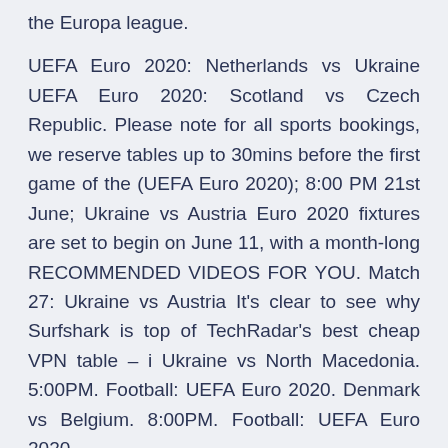the Europa league.
UEFA Euro 2020: Netherlands vs Ukraine UEFA Euro 2020: Scotland vs Czech Republic. Please note for all sports bookings, we reserve tables up to 30mins before the first game of the (UEFA Euro 2020); 8:00 PM 21st June; Ukraine vs Austria Euro 2020 fixtures are set to begin on June 11, with a month-long RECOMMENDED VIDEOS FOR YOU. Match 27: Ukraine vs Austria It's clear to see why Surfshark is top of TechRadar's best cheap VPN table – i Ukraine vs North Macedonia. 5:00PM. Football: UEFA Euro 2020. Denmark vs Belgium. 8:00PM. Football: UEFA Euro 2020.
Stats from team's Domestic League runs only. * Team must